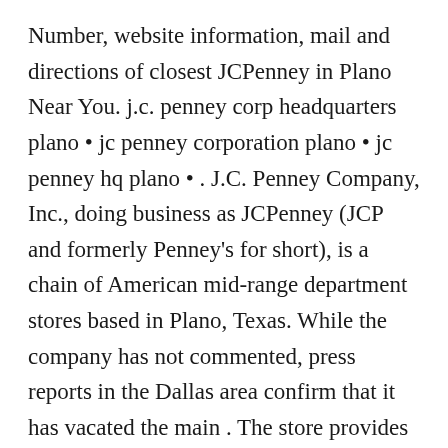Number, website information, mail and directions of closest JCPenney in Plano Near You. j.c. penney corp headquarters plano • jc penney corporation plano • jc penney hq plano • . J.C. Penney Company, Inc., doing business as JCPenney (JCP and formerly Penney's for short), is a chain of American mid-range department stores based in Plano, Texas. While the company has not commented, press reports in the Dallas area confirm that it has vacated the main . The store provides home furniture, jewelry, bedding . Plano, Texas 233,552 . Jcpenney is a Retail company and has headquarters in Plano, Texas, United States. Contact Us. Corporate Phone Number: 1-972-431-1000. Plano, TX 75024 USA. The Campus at Legacy West, Plano, TX 75024 - Office Space for rent. Headquarters Plano, Texas The